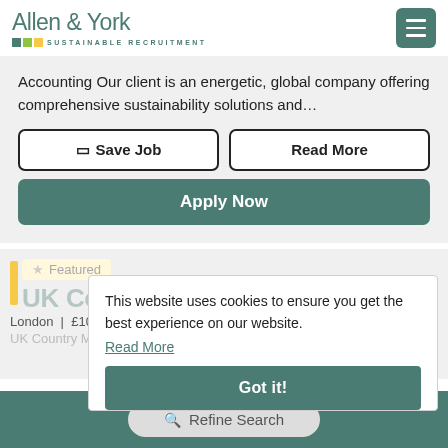Allen & York SUSTAINABLE RECRUITMENT
Accounting Our client is an energetic, global company offering comprehensive sustainability solutions and...
Save Job | Read More
Apply Now
Featured
UK Country Manager
London  |  £100000.00 - £120000.00 per annum
UK Country Manager £110... - £120,000k / London
This website uses cookies to ensure you get the best experience on our website. Read More
Got it!
Refine Search